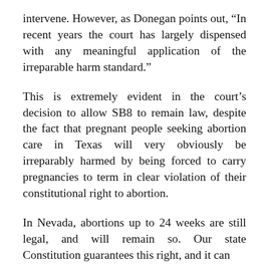intervene. However, as Donegan points out, “In recent years the court has largely dispensed with any meaningful application of the irreparable harm standard.”
This is extremely evident in the court’s decision to allow SB8 to remain law, despite the fact that pregnant people seeking abortion care in Texas will very obviously be irreparably harmed by being forced to carry pregnancies to term in clear violation of their constitutional right to abortion.
In Nevada, abortions up to 24 weeks are still legal, and will remain so. Our state Constitution guarantees this right, and it can